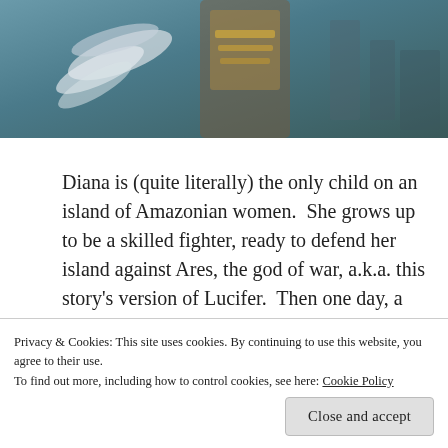[Figure (photo): Partial image of a female warrior character (Wonder Woman) in armored costume, with feathers and a blue/teal background suggesting water or sky. Only the upper portion is visible.]
Diana is (quite literally) the only child on an island of Amazonian women.  She grows up to be a skilled fighter, ready to defend her island against Ares, the god of war, a.k.a. this story's version of Lucifer.  Then one day, a World War I plane pierces the force shield that keeps her island invisible to Ares.  Inside the plane is Captain Kirk–I mean–Steve Trevor (Chris Pine). Like Ariel in The Little Mermaid, Diana is
Privacy & Cookies: This site uses cookies. By continuing to use this website, you agree to their use.
To find out more, including how to control cookies, see here: Cookie Policy
Close and accept